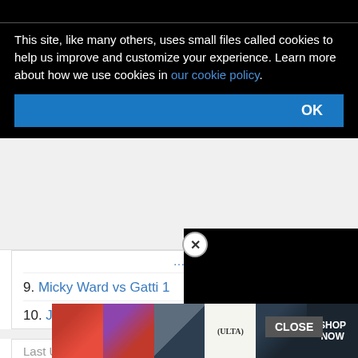This site, like many others, uses small files called cookies to help us improve and customize your experience. Learn more about how we use cookies in our cookie policy.
9. Micky Ward vs Gatti 1
10. Joshua vs Wladimir Klitschko
Last Ufc events
UFC San...
Marlon Vera vs Dominick Cruz
Devin Clark vs Murzakanov
[Figure (photo): Ulta Beauty advertisement banner with makeup images and SHOP NOW text]